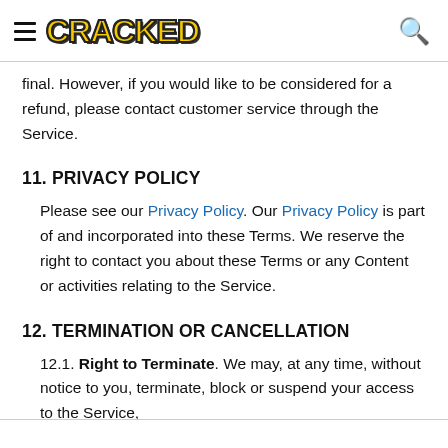CRACKED
final. However, if you would like to be considered for a refund, please contact customer service through the Service.
11. PRIVACY POLICY
Please see our Privacy Policy. Our Privacy Policy is part of and incorporated into these Terms. We reserve the right to contact you about these Terms or any Content or activities relating to the Service.
12. TERMINATION OR CANCELLATION
12.1. Right to Terminate. We may, at any time, without notice to you, terminate, block or suspend your access to the Service,